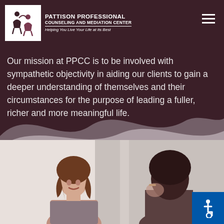[Figure (logo): Pattison Professional Counseling and Mediation Center logo with figure icon and tagline 'Helping You Live Your Life at Its Best']
Our mission at PPCC is to be involved with sympathetic objectivity in aiding our clients to gain a deeper understanding of themselves and their circumstances for the purpose of leading a fuller, richer and more meaningful life.
[Figure (photo): Two women in a counseling session, one facing the camera with long curly hair, the other with glasses viewed from behind]